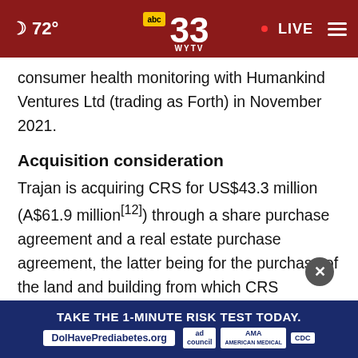72° abc 33 WYTV · LIVE
consumer health monitoring with Humankind Ventures Ltd (trading as Forth) in November 2021.
Acquisition consideration
Trajan is acquiring CRS for US$43.3 million (A$61.9 million[12]) through a share purchase agreement and a real estate purchase agreement, the latter being for the purchase of the land and building from which CRS operates in Ke…
[Figure (screenshot): Advertisement banner: TAKE THE 1-MINUTE RISK TEST TODAY. DolHavePrediabetes.org with ad council, AMA, and CDC logos]